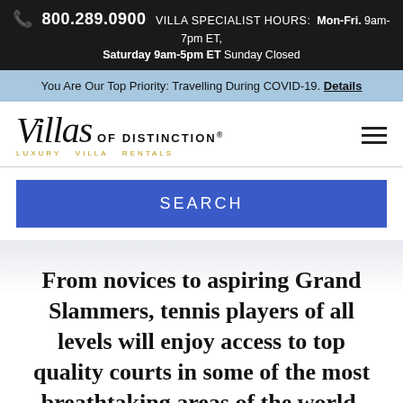📞 800.289.0900  VILLA SPECIALIST HOURS:  Mon-Fri. 9am-7pm ET, Saturday 9am-5pm ET Sunday Closed
You Are Our Top Priority: Travelling During COVID-19. Details
[Figure (logo): Villas of Distinction Luxury Villa Rentals logo with hamburger menu icon]
SEARCH
From novices to aspiring Grand Slammers, tennis players of all levels will enjoy access to top quality courts in some of the most breathtaking areas of the world.